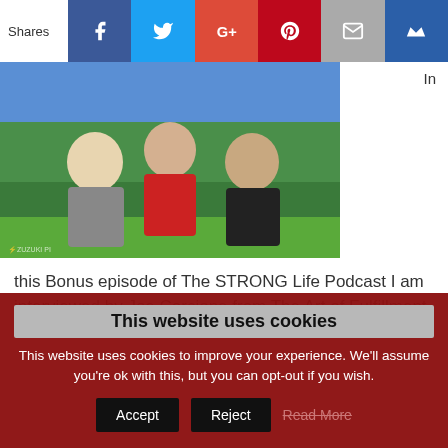Shares
[Figure (photo): Three people standing outdoors on a grassy field with trees in the background. Left person wears a gray Spartan t-shirt, center person in a red shirt with arms crossed, right person in a black Spartan hoodie with arms crossed.]
In
this Bonus episode of The STRONG Life Podcast I am interviewed by Joe Corcione from The Art of Fulfillment Podcast. This was a
This website uses cookies
This website uses cookies to improve your experience. We'll assume you're ok with this, but you can opt-out if you wish.
Accept  Reject  Read More